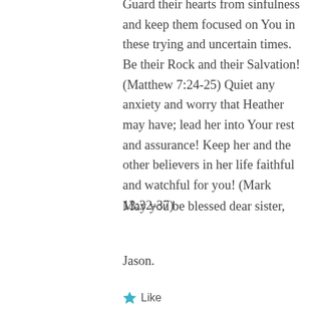Guard their hearts from sinfulness and keep them focused on You in these trying and uncertain times. Be their Rock and their Salvation! (Matthew 7:24-25) Quiet any anxiety and worry that Heather may have; lead her into Your rest and assurance! Keep her and the other believers in her life faithful and watchful for you! (Mark 13:32-37)
May you be blessed dear sister,
Jason.
Like